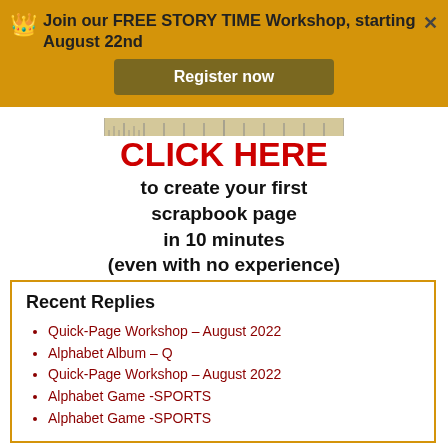Join our FREE STORY TIME Workshop, starting August 22nd
Register now
CLICK HERE to create your first scrapbook page in 10 minutes (even with no experience)
Recent Replies
Quick-Page Workshop – August 2022
Alphabet Album – Q
Quick-Page Workshop – August 2022
Alphabet Game -SPORTS
Alphabet Game -SPORTS